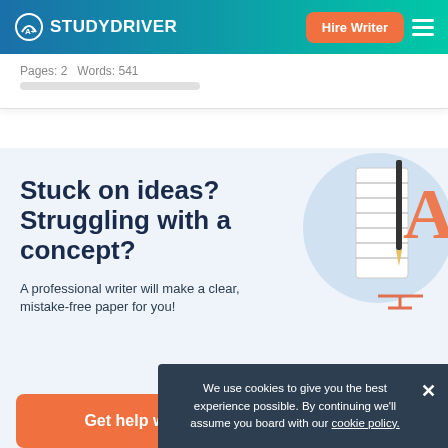STUDYDRIVER | Hire Writer
Pages: 2   Words: 541
Stuck on ideas? Struggling with a concept?
A professional writer will make a clear, mistake-free paper for you!
Get help with your assigment
We use cookies to give you the best experience possible. By continuing we'll assume you board with our cookie policy.